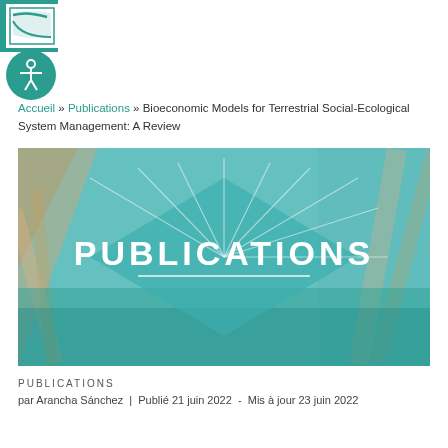[Figure (screenshot): Website navigation header bar with teal background, white logo box on left, search icon and teal menu box on right]
[Figure (screenshot): Circular accessibility icon (person with arms outstretched) on teal circle background]
Accueil » Publications » Bioeconomic Models for Terrestrial Social-Ecological System Management: A Review
[Figure (photo): Publications banner image with teal overlay showing geometric diamond/fan shapes and the word PUBLICATIONS in large white text with a horizontal line beneath it]
PUBLICATIONS
par Arancha Sánchez  |  Publié 21 juin 2022  -  Mis à jour 23 juin 2022